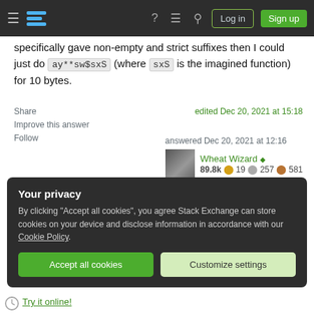Stack Exchange navigation bar with hamburger menu, logo, help, chat, search, Log in, Sign up buttons
specifically gave non-empty and strict suffixes then I could just do ay**sw$sxS (where sxS is the imagined function) for 10 bytes.
Share
Improve this answer
Follow
edited Dec 20, 2021 at 15:18
answered Dec 20, 2021 at 12:16
Wheat Wizard ♦
89.8k 🌕 19 ⚪ 257 🟠 581
Add a comment
Your privacy
By clicking "Accept all cookies", you agree Stack Exchange can store cookies on your device and disclose information in accordance with our Cookie Policy.
Accept all cookies   Customize settings
Try it online!